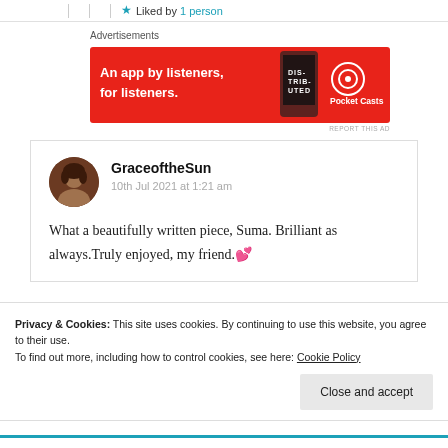Liked by 1 person
Advertisements
[Figure (illustration): Pocket Casts advertisement banner: red background with text 'An app by listeners, for listeners.' and Pocket Casts logo with podcast app graphic]
REPORT THIS AD
GraceoftheSun
10th Jul 2021 at 1:21 am
What a beautifully written piece, Suma. Brilliant as always.Truly enjoyed, my friend.💕
Privacy & Cookies: This site uses cookies. By continuing to use this website, you agree to their use.
To find out more, including how to control cookies, see here: Cookie Policy
Close and accept